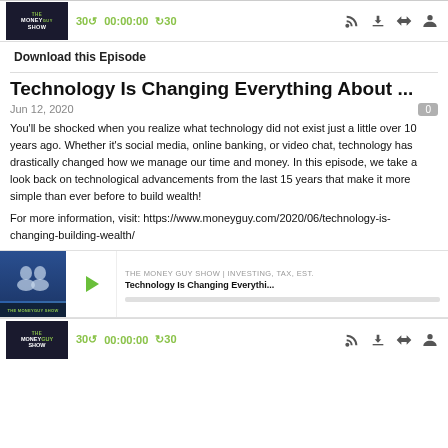[Figure (screenshot): Top podcast player bar with MoneyGuy Show logo, timer controls showing 30s back, 00:00:00, forward 30s, and icons for RSS, download, embed, and settings]
Download this Episode
Technology Is Changing Everything About ...
Jun 12, 2020
You'll be shocked when you realize what technology did not exist just a little over 10 years ago. Whether it's social media, online banking, or video chat, technology has drastically changed how we manage our time and money. In this episode, we take a look back on technological advancements from the last 15 years that make it more simple than ever before to build wealth!
For more information, visit: https://www.moneyguy.com/2020/06/technology-is-changing-building-wealth/
[Figure (screenshot): Embedded podcast player with two hosts photo, green play button, show title THE MONEY GUY SHOW | INVESTING, TAX, EST., episode title Technology Is Changing Everythi...]
[Figure (screenshot): Bottom podcast player bar with MoneyGuy Show logo, timer controls showing 30s back, 00:00:00, forward 30s, and icons for RSS, download, embed, and settings]